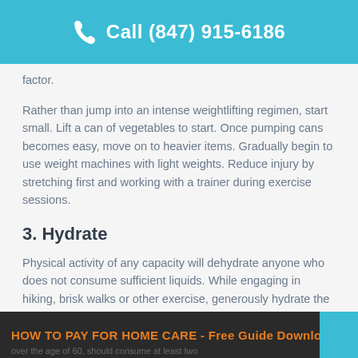Call (847) 915-6186
factor.
Rather than jump into an intense weightlifting regimen, start small. Lift a can of vegetables to start. Once pumping cans becomes easy, move on to heavier items. Gradually begin to use weight machines with light weights. Reduce injury by stretching first and working with a trainer during exercise sessions.
3. Hydrate
Physical activity of any capacity will dehydrate anyone who does not consume sufficient liquids. While engaging in hiking, brisk walks or other exercise, generously hydrate the body with H2O. Without water, an individual's ability to stay active drops significantly—with up to a 30 percent decrease.
HOW TO PAY FOR HOME CARE - Free Guide Download